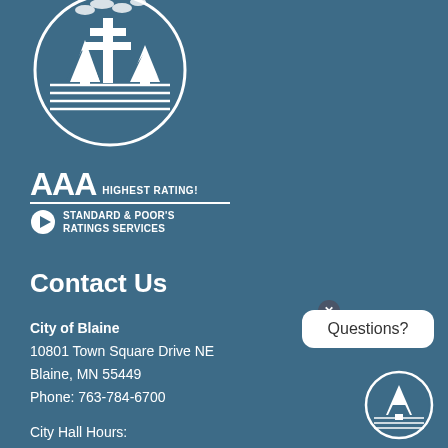[Figure (logo): City of Blaine circular logo with pine trees and horizontal lines, white on dark blue]
[Figure (logo): AAA Highest Rating badge with Standard & Poor's Ratings Services logo]
Contact Us
City of Blaine
10801 Town Square Drive NE
Blaine, MN 55449
Phone: 763-784-6700
City Hall Hours:
[Figure (illustration): White speech bubble with 'Questions?' text and close button]
[Figure (logo): Small City of Blaine circular logo, bottom right corner]